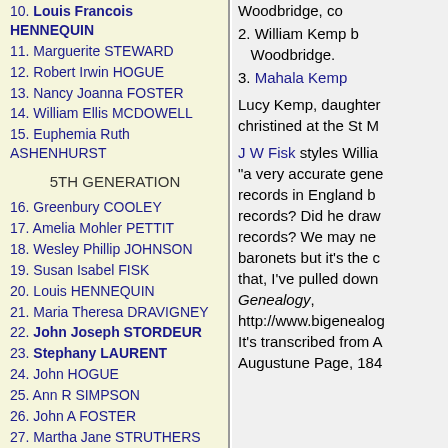10. Louis Francois HENNEQUIN
11. Marguerite STEWARD
12. Robert Irwin HOGUE
13. Nancy Joanna FOSTER
14. William Ellis MCDOWELL
15. Euphemia Ruth ASHENHURST
5TH GENERATION
16. Greenbury COOLEY
17. Amelia Mohler PETTIT
18. Wesley Phillip JOHNSON
19. Susan Isabel FISK
20. Louis HENNEQUIN
21. Maria Theresa DRAVIGNEY
22. John Joseph STORDEUR
23. Stephany LAURENT
24. John HOGUE
25. Ann R SIMPSON
26. John A FOSTER
27. Martha Jane STRUTHERS
28. William Erwin MCDOWELL
29. Maria HART
30. Oliver Taylor ASHENHURST
31. Sara Eva SOUTHERN
6TH GENERATION
32. David COOLEY
1. Woodbridge, co
2. William Kemp b, Woodbridge.
3. Mahala Kemp
Lucy Kemp, daughter christined at the St M
J W Fisk styles Willia "a very accurate gene records in England b records? Did he draw records? We may ne baronets but it's the c that, I've pulled down Genealogy, http://www.bigenealog It's transcribed from A Augustune Page, 184